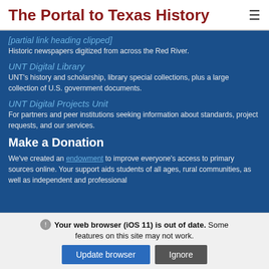The Portal to Texas History
Historic newspapers digitized from across the Red River.
UNT Digital Library
UNT's history and scholarship, library special collections, plus a large collection of U.S. government documents.
UNT Digital Projects Unit
For partners and peer institutions seeking information about standards, project requests, and our services.
Make a Donation
We've created an endowment to improve everyone's access to primary sources online. Your support aids students of all ages, rural communities, as well as independent and professional
Your web browser (iOS 11) is out of date. Some features on this site may not work.